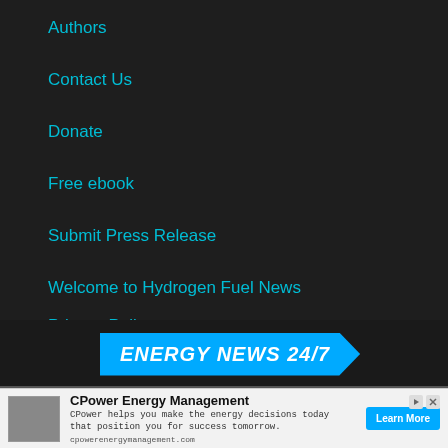Authors
Contact Us
Donate
Free ebook
Submit Press Release
Welcome to Hydrogen Fuel News
Privacy Policy
ENERGY NEWS 24/7
[Figure (screenshot): Advertisement for CPower Energy Management with logo, text, URL, and Learn More button]
CPower Energy Management
CPower helps you make the energy decisions today that position you for success tomorrow.
cpowerenergymanagement.com
Learn More